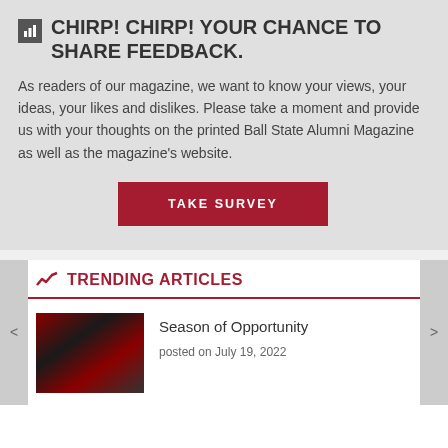CHIRP! CHIRP! YOUR CHANCE TO SHARE FEEDBACK.
As readers of our magazine, we want to know your views, your ideas, your likes and dislikes. Please take a moment and provide us with your thoughts on the printed Ball State Alumni Magazine as well as the magazine's website.
TAKE SURVEY
TRENDING ARTICLES
Season of Opportunity
posted on July 19, 2022